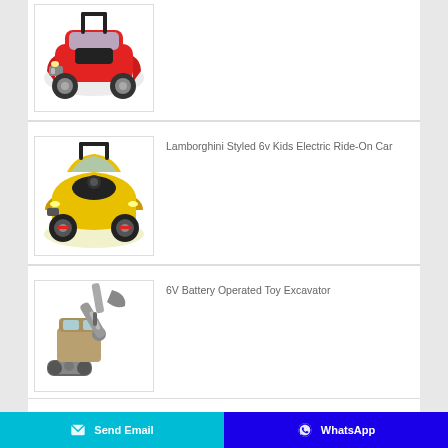[Figure (photo): Red ride-on toy car with push handle, Bentley-styled, partially visible at top of page]
[Figure (photo): Yellow Lamborghini-styled 6v kids electric ride-on car with black wheels]
Lamborghini Styled 6v Kids Electric Ride-On Car
[Figure (photo): 6V battery operated toy excavator, grey/tan colored construction vehicle]
6V Battery Operated Toy Excavator
Send Email
WhatsApp